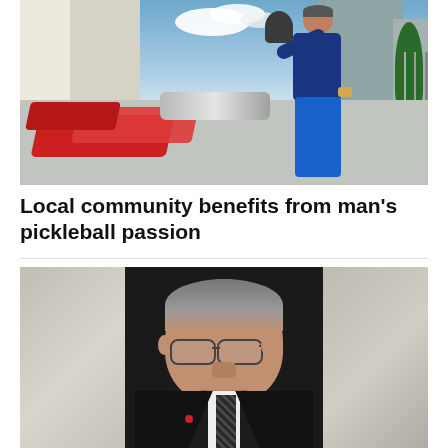[Figure (photo): A person holding a pickleball paddle on an outdoor court, with buildings and clouds in the background. Red pickleball paddles and a silver bag visible on the court.]
Local community benefits from man's pickleball passion
[Figure (photo): Portrait photo of an older Asian man in a dark suit and striped tie, wearing glasses, against a mottled gray background.]
Norman Mineta, transportation secretary in